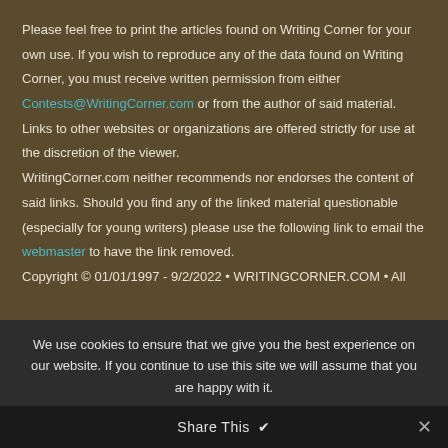Please feel free to print the articles found on Writing Corner for your own use. If you wish to reproduce any of the data found on Writing Corner, you must receive written permission from either Contests@WritingCorner.com or from the author of said material. Links to other websites or organizations are offered strictly for use at the discretion of the viewer. WritingCorner.com neither recommends nor endorses the content of said links. Should you find any of the linked material questionable (especially for young writers) please use the following link to email the webmaster to have the link removed. Copyright © 01/01/1997 - 9/2/2022 • WRITINGCORNER.COM • All
We use cookies to ensure that we give you the best experience on our website. If you continue to use this site we will assume that you are happy with it.
Share This ∨